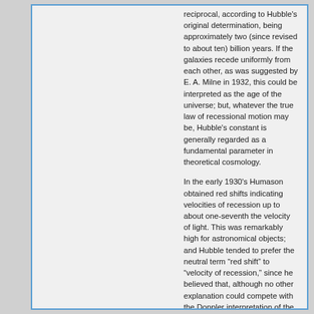reciprocal, according to Hubble's original determination, being approximately two (since revised to about ten) billion years. If the galaxies recede uniformly from each other, as was suggested by E. A. Milne in 1932, this could be interpreted as the age of the universe; but, whatever the true law of recessional motion may be, Hubble's constant is generally regarded as a fundamental parameter in theoretical cosmology.
In the early 1930's Humason obtained red shifts indicating velocities of recession up to about one-seventh the velocity of light. This was remarkably high for astronomical objects; and Hubble tended to prefer the neutral term "red shift" to "velocity of recession," since he believed that, although no other explanation could compete with the Doppler interpretation of the spectra, it was possible that some hitherto unrecognized principle of physics may be responsible for the effects observed. This became a central problem for him in the course of the 1930's and was one of the objectives of his detailed investigations of the distribution of galaxies. These investigations were of two kinds: surveys of large areas of the sky penetrating to moderate depths, and surveys of selected small areas to the limits of observability.